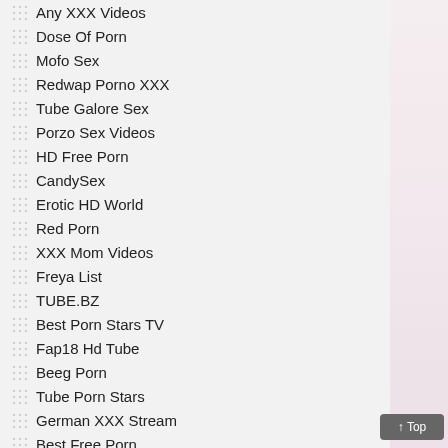Any XXX Videos
Dose Of Porn
Mofo Sex
Redwap Porno XXX
Tube Galore Sex
Porzo Sex Videos
HD Free Porn
CandySex
Erotic HD World
Red Porn
XXX Mom Videos
Freya List
TUBE.BZ
Best Porn Stars TV
Fap18 Hd Tube
Beeg Porn
Tube Porn Stars
German XXX Stream
Best Free Porn
Babe 8
Lizard Porn
Steezy List
SexeCherche